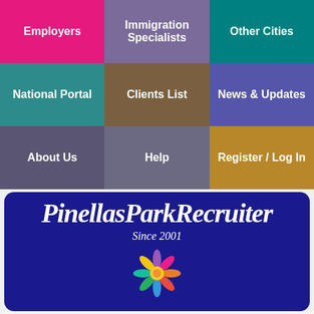[Figure (screenshot): Navigation grid with 9 colored cells: Employers (pink), Immigration Specialists (purple), Other Cities (teal), National Portal (teal dark), Clients List (brown), News & Updates (blue-purple), About Us (slate), Help (slate2), Register/Log In (gold)]
[Figure (logo): PinellasParkRecruiter logo banner in dark blue with italic script text, Since 2001 subtitle, and colorful flower icon]
the smart solution for Pinellas Park jobs
[Figure (infographic): Row of social media share buttons: Facebook, Messenger, Twitter, LinkedIn, Email, Plus]